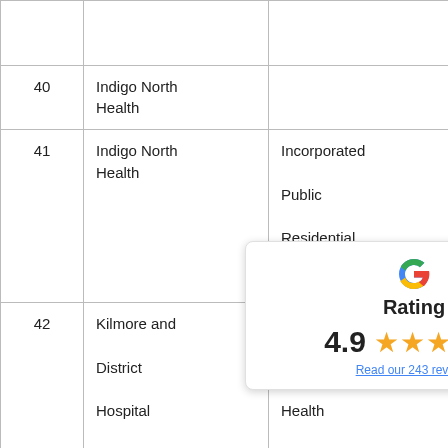| # | Organisation | Type | Amount | Project |
| --- | --- | --- | --- | --- |
|  |  |  |  | Community Health Hub |
| 40 | Indigo North Health |  | $275,301 | Kitchen Refurbishment |
| 41 | Indigo North Health | Incorporated Public Residential Aged Care | $361,000 | Heating and C... |
| 42 | Kilmore and District Hospital | Sub-Regional Health Service |  | Fire Upgrade W... HS... gem... |
| 43 | Kyneton District | Sub-Regional | $119,500 | Purchase Imag... |
[Figure (other): Google Rating overlay showing 4.9 stars based on 243 reviews]